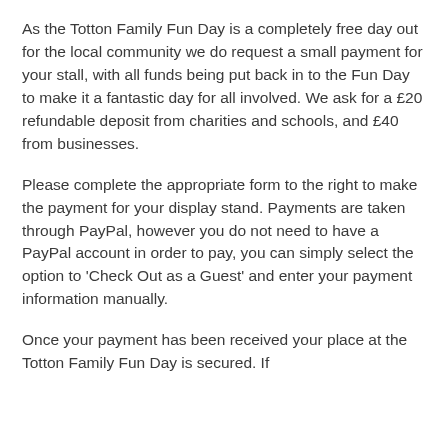As the Totton Family Fun Day is a completely free day out for the local community we do request a small payment for your stall, with all funds being put back in to the Fun Day to make it a fantastic day for all involved. We ask for a £20 refundable deposit from charities and schools, and £40 from businesses.
Please complete the appropriate form to the right to make the payment for your display stand. Payments are taken through PayPal, however you do not need to have a PayPal account in order to pay, you can simply select the option to 'Check Out as a Guest' and enter your payment information manually.
Once your payment has been received your place at the Totton Family Fun Day is secured. If